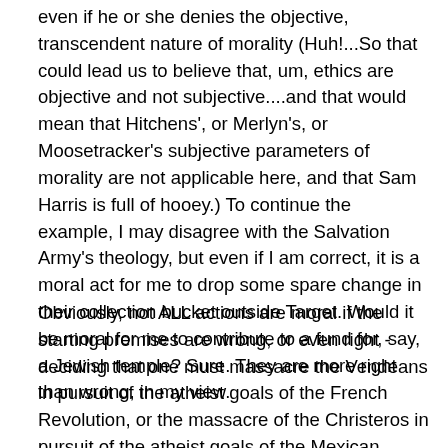even if he or she denies the objective, transcendent nature of morality (Huh!...So that could lead us to believe that, um, ethics are objective and not subjective....and that would mean that Hitchens', or Merlyn's, or Moosetracker's subjective parameters of morality are not applicable here, and that Sam Harris is full of hooey.) To continue the example, I may disagree with the Salvation Army's theology, but even if I am correct, it is a moral act for me to drop some spare change in their collection bucket outside Target. Would it be moral for me to contribute to a fund for, say, a Jewish temple? Sure. They are more right than wrong, in my view.
Obviously, not ALL actions are moral if the starting premises are wrong, or even right - deciding that one must massacre the Vendeans in pursuit of the atheist goals of the French Revolution, or the massacre of the Christeros in pursuit of the atheist goals of the Mexican Revolution, or the genocide of the Kulaks in pursuit of the atheist goals of Communism, some actions are clearly wrong whatever the rationale for them - but this is more evidence that a Christian view of morality is most